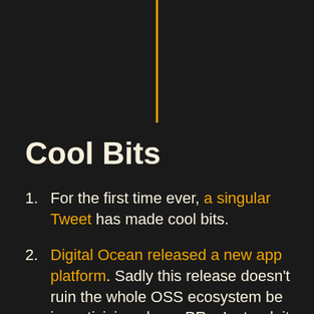[Figure (other): Vertical orange decorative line centered at top of page]
Cool Bits
For the first time ever, a singular Tweet has made cool bits.
Digital Ocean released a new app platform. Sadly this release doesn't ruin the whole OSS ecosystem be incentivizing cheap PRs. Instead, it promises to make it easier to build